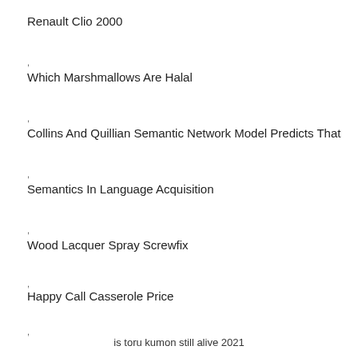Renault Clio 2000
,
Which Marshmallows Are Halal
,
Collins And Quillian Semantic Network Model Predicts That
,
Semantics In Language Acquisition
,
Wood Lacquer Spray Screwfix
,
Happy Call Casserole Price
,
Anglican Dominican Sisters
,
is toru kumon still alive 2021